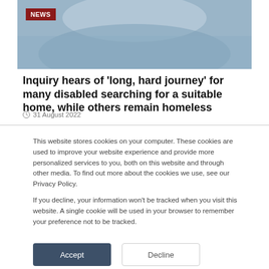[Figure (photo): Blurred photo of a person, with a dark red NEWS badge overlay in the top-left corner]
Inquiry hears of ‘long, hard journey’ for many disabled searching for a suitable home, while others remain homeless
© 31 August 2022
This website stores cookies on your computer. These cookies are used to improve your website experience and provide more personalized services to you, both on this website and through other media. To find out more about the cookies we use, see our Privacy Policy.
If you decline, your information won’t be tracked when you visit this website. A single cookie will be used in your browser to remember your preference not to be tracked.